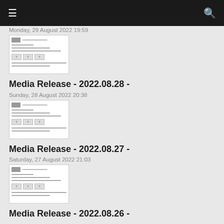≡  🔍
Monday, 29 August 2022 19:59
[Figure (screenshot): Thumbnail image of a media release document]
Media Release - 2022.08.28 -
Sunday, 28 August 2022 20:38
[Figure (screenshot): Thumbnail image of a media release document]
Media Release - 2022.08.27 -
Saturday, 27 August 2022 21:03
[Figure (screenshot): Thumbnail image of a media release document]
Media Release - 2022.08.26 -